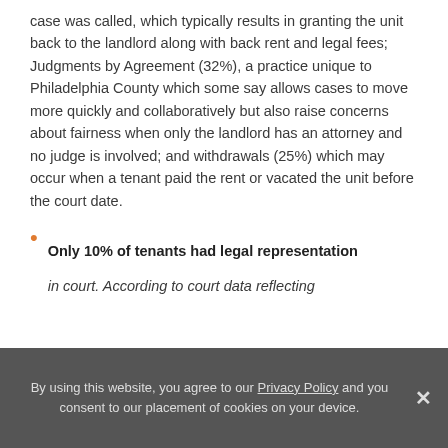case was called, which typically results in granting the unit back to the landlord along with back rent and legal fees; Judgments by Agreement (32%), a practice unique to Philadelphia County which some say allows cases to move more quickly and collaboratively but also raise concerns about fairness when only the landlord has an attorney and no judge is involved; and withdrawals (25%) which may occur when a tenant paid the rent or vacated the unit before the court date.
Only 10% of tenants had legal representation in court. According to court data reflecting...
By using this website, you agree to our Privacy Policy and you consent to our placement of cookies on your device.